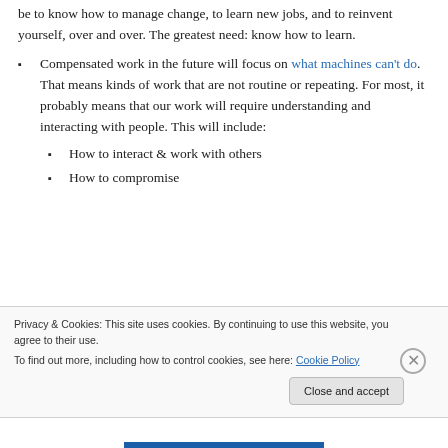be to know how to manage change, to learn new jobs, and to reinvent yourself, over and over. The greatest need: know how to learn.
Compensated work in the future will focus on what machines can't do. That means kinds of work that are not routine or repeating. For most, it probably means that our work will require understanding and interacting with people. This will include:
How to interact & work with others
How to compromise
Privacy & Cookies: This site uses cookies. By continuing to use this website, you agree to their use. To find out more, including how to control cookies, see here: Cookie Policy